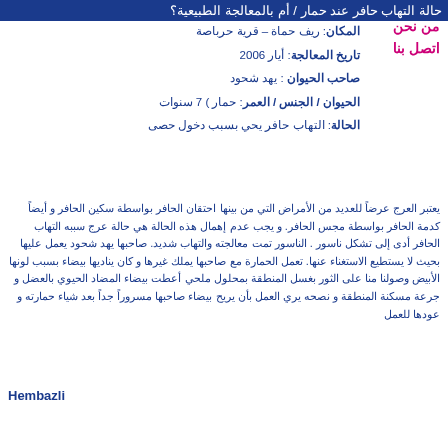حالة التهاب حافر عند حمار / أم بالمعالجة الطبيعية؟
من نحن
اتصل بنا
المكان: ريف حماة – قرية حرباصة
تاريخ المعالجة: أيار 2006
صاحب الحيوان: يهد شحود
الحيوان / الجنس / العمر: حمار ) 7 سنوات
الحالة: التهاب حافر يحي بسبب دخول حصى
يعتبر العرج عرضاً للعديد من الأمراض التي من بينها احتقان الحافر بواسطة سكين الحافر و أيضاً كدمة الحافر بواسطة مجس الحافر. و يجب عدم إهمال هذه الحالة هي حالة عرج سببه التهاب الحافر أدى إلى تشكل ناسور. الناسور تمت معالجته والتهاب شديد. صاحبها يهد شحود يعمل عليها بحيث لا يستطيع الاستغناء عنها. تعمل الحمارة مع صاحبها يملك غيرها و كان يناديها بيضاء بسبب لونها الأبيض وصولنا منا على الثور بغسل المنطقة بمحلول ملحي أعطت بيضاء المضاد الحيوي بالعضل و جرعة مسكنة المنطقة و نصحه يري العمل بأن يريح بيضاء صاحبها مسروراً جداً بعد شياء حمارته و عودها للعمل
Hembazli